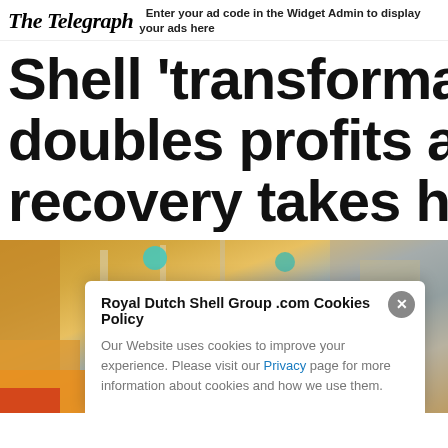The Telegraph — Enter your ad code in the Widget Admin to display your ads here
Shell 'transformation' doubles profits as oil recovery takes hold
[Figure (photo): Photo of what appears to be a Shell petrol station interior with yellow and red equipment]
Royal Dutch Shell Group .com Cookies Policy — Our Website uses cookies to improve your experience. Please visit our Privacy page for more information about cookies and how we use them.